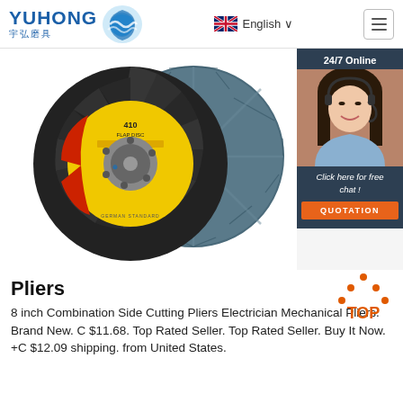YUHONG 宇弘磨具 | English
[Figure (photo): Two flap discs (grinding wheels) — one showing the yellow-labeled front face and one showing the back, arranged side by side on a white background. A customer service chat widget is overlaid on the right side showing a woman with a headset, '24/7 Online', 'Click here for free chat!' text and an orange QUOTATION button.]
Pliers
8 inch Combination Side Cutting Pliers Electrician Mechanical Pliers. Brand New. C $11.68. Top Rated Seller. Top Rated Seller. Buy It Now. +C $12.09 shipping. from United States.